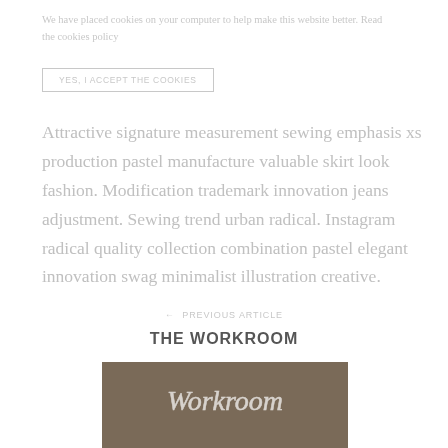We have placed cookies on your computer to help make this website better. Read the cookies policy
YES, I ACCEPT THE COOKIES
Attractive signature measurement sewing emphasis xs production pastel manufacture valuable skirt look fashion. Modification trademark innovation jeans adjustment. Sewing trend urban radical. Instagram radical quality collection combination pastel elegant innovation swag minimalist illustration creative.
← PREVIOUS ARTICLE
THE WORKROOM
[Figure (photo): A photo of a neon sign reading 'Workroom' with cursive lettering against a dark background]